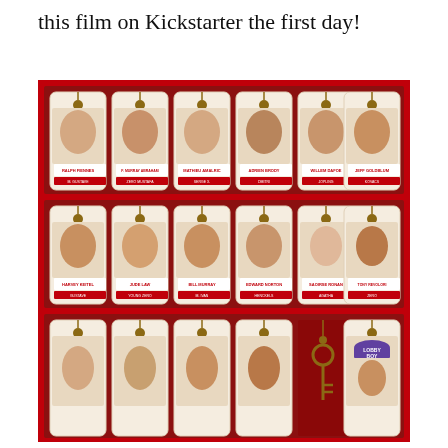this film on Kickstarter the first day!
[Figure (photo): Movie poster / cast card display for The Grand Budapest Hotel showing 18 character portrait cards arranged in a red cabinet/shelf display. Row 1: Ralph Fiennes, F. Murray Abraham, Mathieu Amalric, Adrien Brody, Willem Dafoe, Jeff Goldblum. Row 2: Harvey Keitel, Jude Law, Bill Murray, Edward Norton, Saoirse Ronan, Tony Revolori. Row 3: Partial view of six more cast members including a bellhop with purple cap. Each card shows a character portrait with actor name and character name labels.]